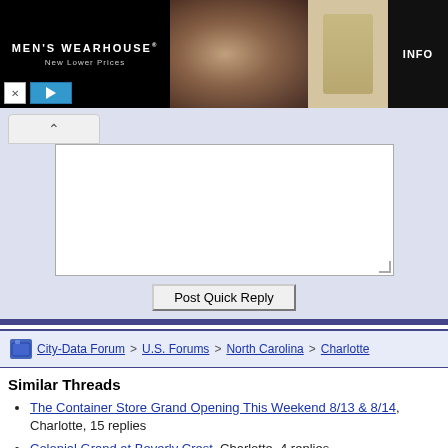[Figure (photo): Men's Wearhouse advertisement banner showing a couple in formal wear (man in dark tuxedo, woman in silver dress) on the left, a man in a tan/khaki suit on the right, with 'MEN'S WEARHOUSE New Lower Prices' text and an INFO button.]
Post Quick Reply (button)
City-Data Forum > U.S. Forums > North Carolina > Charlotte
Similar Threads
The Container Store Grand Opening This Weekend 8/13 & 8/14, Charlotte, 15 replies
Colonial Grand at Beverly Crest, Charlotte, 4 replies
Grand Asia Market (Stallings), Charlotte, 11 replies
Sprinkler Activation at Colonial Grand Huntersville, Charlotte, 8 replies
Moving from Grand Rapids, MI to Charlotte